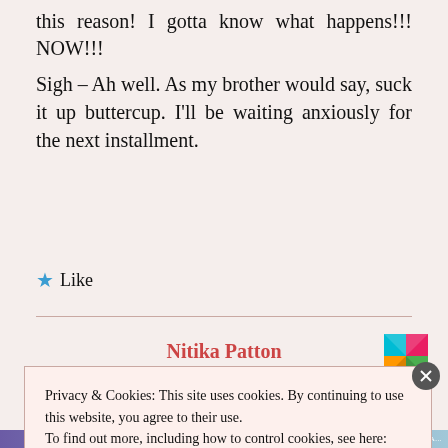this reason! I gotta know what happens!!! NOW!!!
Sigh – Ah well. As my brother would say, suck it up buttercup. I'll be waiting anxiously for the next installment.
★ Like
Nitika Patton
Privacy & Cookies: This site uses cookies. By continuing to use this website, you agree to their use.
To find out more, including how to control cookies, see here: Cookie Policy
Close and accept